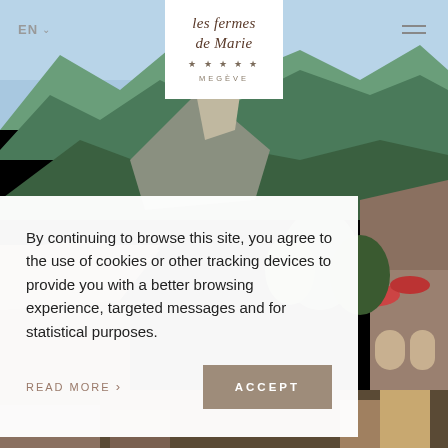[Figure (photo): Alpine hotel scene with mountain backdrop, wooden chalet rooftops, green forested mountains, blue sky, and outdoor terrace with red umbrellas visible on the right side.]
EN
[Figure (logo): Les Fermes de Marie logo — cursive script text reading 'les fermes de Marie' with five stars below and 'MEGÈVE' in spaced capitals, on white background]
By continuing to browse this site, you agree to the use of cookies or other tracking devices to provide you with a better browsing experience, targeted messages and for statistical purposes.
READ MORE >
ACCEPT